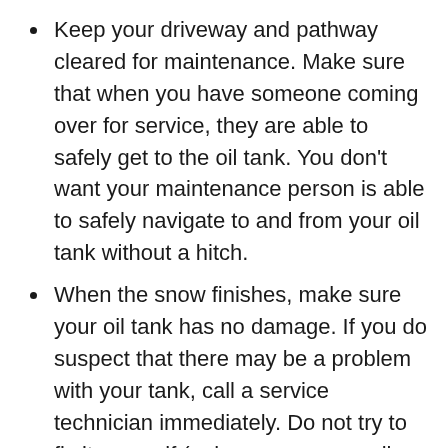Keep your driveway and pathway cleared for maintenance. Make sure that when you have someone coming over for service, they are able to safely get to the oil tank. You don't want your maintenance person is able to safely navigate to and from your oil tank without a hitch.
When the snow finishes, make sure your oil tank has no damage. If you do suspect that there may be a problem with your tank, call a service technician immediately. Do not try to fix it yourself (unless you are an oil tank service technician).
Heating oil is crucial for the comfort of you and your family.. By keeping tabs on the oil tank, you can avoid a serious inconvenience and costly